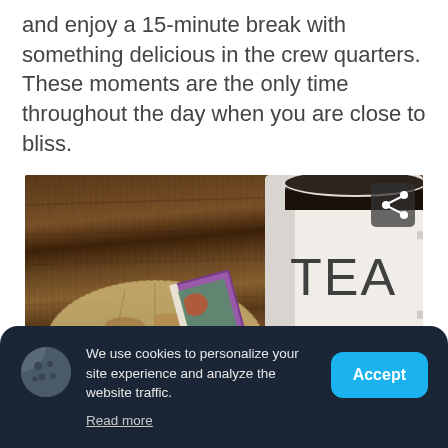and enjoy a 15-minute break with something delicious in the crew quarters. These moments are the only time throughout the day when you are close to bliss.
[Figure (photo): A rustic wooden table with a white tea/coffee mug labeled 'TEA', an old world map and a book with colorful cover, warm vintage tones. A share icon overlay appears in the top right corner of the image.]
We use cookies to personalize your site experience and analyze the website traffic.
Read more